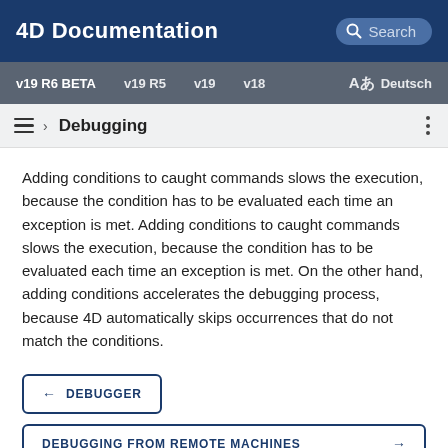4D Documentation  Search
v19 R6 BETA  v19 R5  v19  v18  Aあ  Deutsch
› Debugging
Adding conditions to caught commands slows the execution, because the condition has to be evaluated each time an exception is met. Adding conditions to caught commands slows the execution, because the condition has to be evaluated each time an exception is met. On the other hand, adding conditions accelerates the debugging process, because 4D automatically skips occurrences that do not match the conditions.
← DEBUGGER
DEBUGGING FROM REMOTE MACHINES →